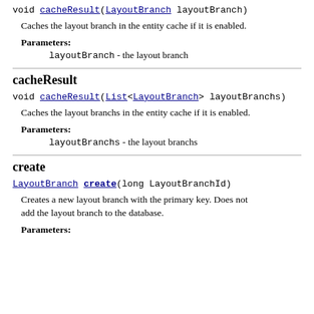void cacheResult(LayoutBranch layoutBranch)
Caches the layout branch in the entity cache if it is enabled.
Parameters:
layoutBranch - the layout branch
cacheResult
void cacheResult(List<LayoutBranch> layoutBranchs)
Caches the layout branchs in the entity cache if it is enabled.
Parameters:
layoutBranchs - the layout branchs
create
LayoutBranch create(long LayoutBranchId)
Creates a new layout branch with the primary key. Does not add the layout branch to the database.
Parameters: